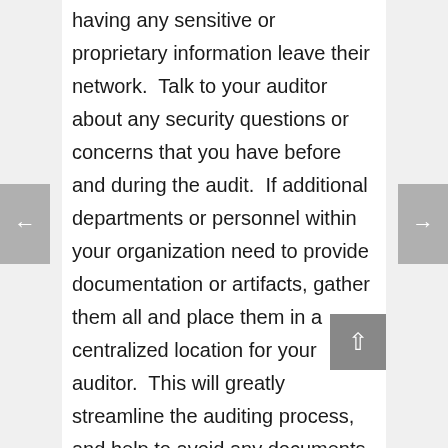having any sensitive or proprietary information leave their network.  Talk to your auditor about any security questions or concerns that you have before and during the audit.  If additional departments or personnel within your organization need to provide documentation or artifacts, gather them all and place them in a centralized location for your auditor.  This will greatly streamline the auditing process, and help to avoid any documents or artifacts from being missed during the audit.
Great! My Audit Is Over! I Can Relax Now, Right?